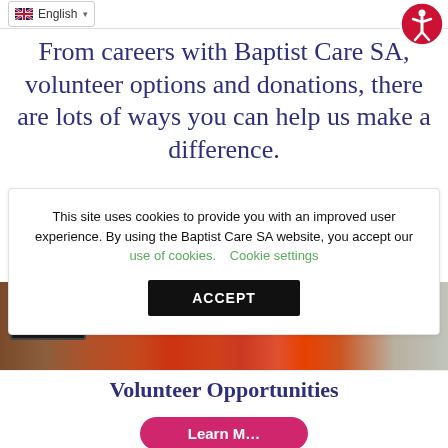English
From careers with Baptist Care SA, volunteer options and donations, there are lots of ways you can help us make a difference.
This site uses cookies to provide you with an improved user experience. By using the Baptist Care SA website, you accept our use of cookies.   Cookie settings
ACCEPT
[Figure (photo): Photo of a person in a red shirt holding a medal near a digital scale display showing 1130]
Volunteer Opportunities
Learn More
TOP